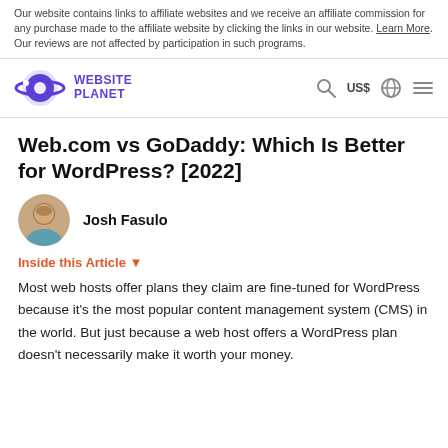Our website contains links to affiliate websites and we receive an affiliate commission for any purchase made to the affiliate website by clicking the links in our website. Learn More. Our reviews are not affected by participation in such programs.
[Figure (logo): Website Planet logo — purple planet/orbit icon with 'WEBSITE PLANET' text in purple]
[Figure (other): Navigation icons: search magnifier, 'US$' currency label, globe icon, hamburger menu]
Web.com vs GoDaddy: Which Is Better for WordPress? [2022]
[Figure (photo): Circular avatar photo of Josh Fasulo, a man with short hair, smiling, wearing a teal shirt]
Josh Fasulo
Inside this Article ▼
Most web hosts offer plans they claim are fine-tuned for WordPress because it's the most popular content management system (CMS) in the world. But just because a web host offers a WordPress plan doesn't necessarily make it worth your money.